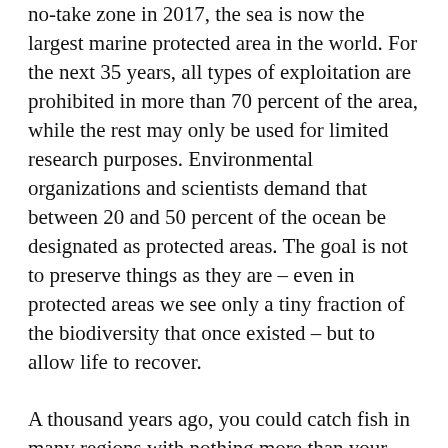no-take zone in 2017, the sea is now the largest marine protected area in the world. For the next 35 years, all types of exploitation are prohibited in more than 70 percent of the area, while the rest may only be used for limited research purposes. Environmental organizations and scientists demand that between 20 and 50 percent of the ocean be designated as protected areas. The goal is not to preserve things as they are – even in protected areas we see only a tiny fraction of the biodiversity that once existed – but to allow life to recover.
A thousand years ago, you could catch fish in many regions with nothing more than your bare hands and a net. Just 500 years ago, gray whales and right whales, whose meat was prized on the market, were a common sight in the North Sea. A few hundred years ago, sea turtles still teemed in the millions in